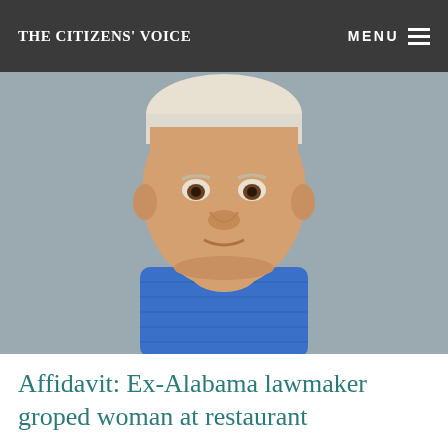The Citizens' Voice
[Figure (photo): Mugshot-style photograph of an older white male with white/blonde hair wearing a blue shirt, against a gray background.]
Affidavit: Ex-Alabama lawmaker groped woman at restaurant